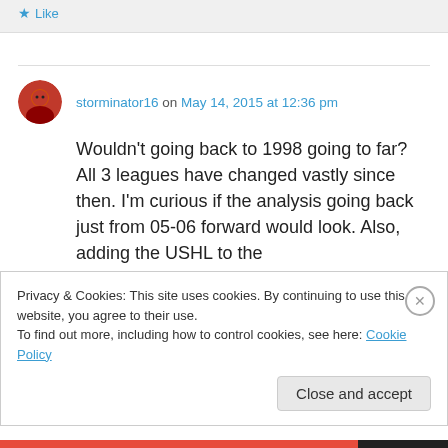Like
storminator16 on May 14, 2015 at 12:36 pm
Wouldn't going back to 1998 going to far? All 3 leagues have changed vastly since then. I'm curious if the analysis going back just from 05-06 forward would look. Also, adding the USHL to the
Privacy & Cookies: This site uses cookies. By continuing to use this website, you agree to their use.
To find out more, including how to control cookies, see here: Cookie Policy
Close and accept